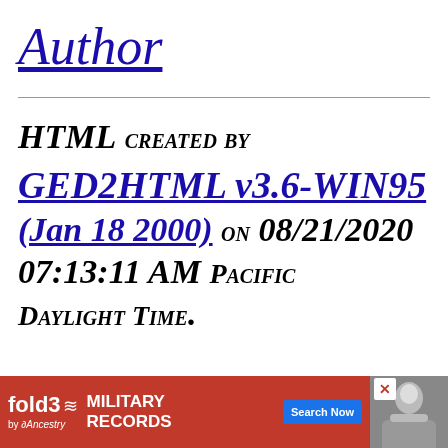Author
HTML CREATED BY GED2HTML v3.6-WIN95 (Jan 18 2000) on 08/21/2020 07:13:11 AM Pacific Daylight Time.